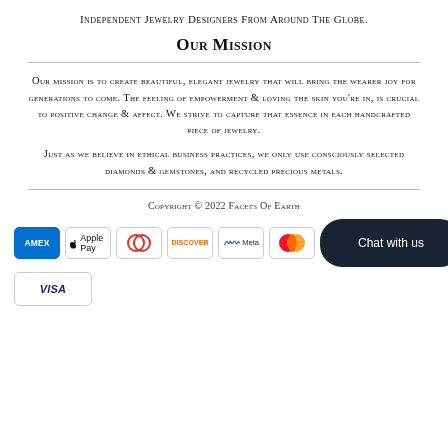INDEPENDENT JEWELRY DESIGNERS FROM AROUND THE GLOBE.
Our Mission
Our mission is to create beautiful, elegant jewelry that will bring the wearer joy for generations to come. The feeling of empowerment & loving the skin you're in, is crucial to positive change & affect. We strive to capture that essence in each handcrafted piece of jewelry.

Just as we believe in ethical business practices, we only use consciously selected diamonds & gemstones, and recycled precious metals.
Copyright © 2022 Facets Of Earth
[Figure (other): Payment method icons: Amex, Apple Pay, Diners Club, Discover, Meta Pay, Mastercard, Visa, and a 'Chat with us' chat bubble button.]